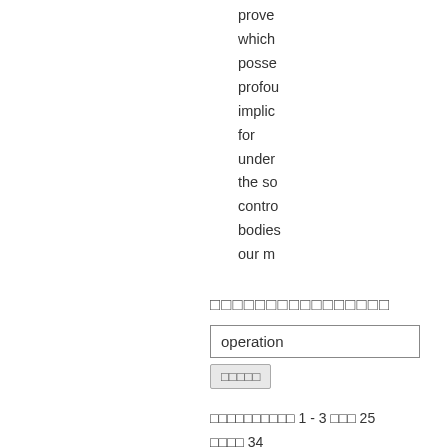prove which posse profou implic for under the so contro bodies our m
□□□□□□□□□□□□□□□□
operation
□□□□□
□□□□□□□□□□ 1 - 3 □□□ 25 □□□□ 34
These are all anti - judicial operations , but they are still not a